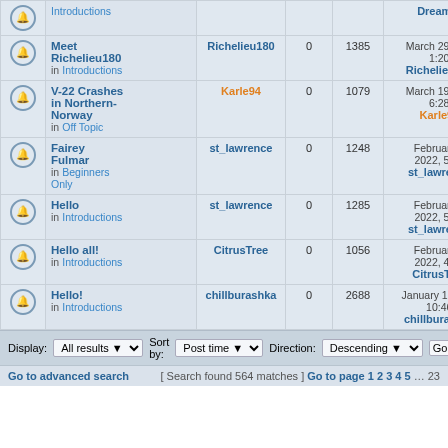|  | Topic | Author | Replies | Views | Last post |
| --- | --- | --- | --- | --- | --- |
|  | Meet Richelieu180 in Introductions | Richelieu180 | 0 | 1385 | March 29th, 2022, 1:20 pm Richelieu180 |
|  | V-22 Crashes in Northern-Norway in Off Topic | Karle94 | 0 | 1079 | March 19th, 2022, 6:28 pm Karle94 |
|  | Fairey Fulmar in Beginners Only | st_lawrence | 0 | 1248 | February 28th, 2022, 5:36 pm st_lawrence |
|  | Hello in Introductions | st_lawrence | 0 | 1285 | February 28th, 2022, 5:16 pm st_lawrence |
|  | Hello all! in Introductions | CitrusTree | 0 | 1056 | February 28th, 2022, 4:50 pm CitrusTree |
|  | Hello! in Introductions | chillburashka | 0 | 2688 | January 16th, 2022, 10:46 pm chillburashka |
Display: All results  Sort by: Post time  Direction: Descending  Go
Go to advanced search  [ Search found 564 matches ]  Go to page 1 2 3 4 5 … 23